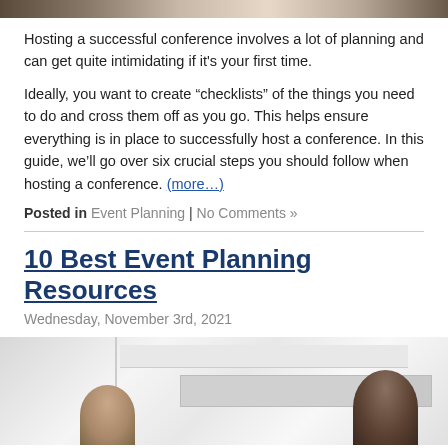[Figure (photo): Cropped photo strip at top of page, showing a conference or event scene]
Hosting a successful conference involves a lot of planning and can get quite intimidating if it's your first time.
Ideally, you want to create “checklists” of the things you need to do and cross them off as you go. This helps ensure everything is in place to successfully host a conference. In this guide, we’ll go over six crucial steps you should follow when hosting a conference. (more…)
Posted in Event Planning | No Comments »
10 Best Event Planning Resources
Wednesday, November 3rd, 2021
[Figure (photo): Photo of a modern bright conference room interior with people seated at a table]